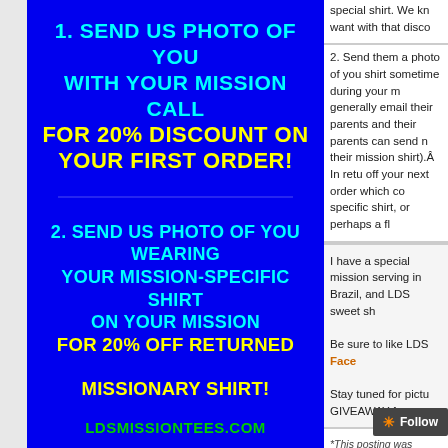[Figure (illustration): Blue advertisement panel for LDSMissionTees.com with yellow and cyan bold text offering 20% discount for sending photo with mission call, and 20% off for sending photo wearing mission-specific shirt on mission. URL shown at bottom in green.]
special shirt. We kn... want with that disco...
2. Send them a photo of you... shirt sometime during your m... generally email their parents... and their parents can send n... their mission shirt). In retu... off your next order which co... specific shirt, or perhaps a fl...
I have a special mission... serving in Brazil, and LDS... sweet sh...
Be sure to like LDS... Face...
Stay tuned for pictu... GIVEAWAY from...
*This posting was sponsore... opinions are...